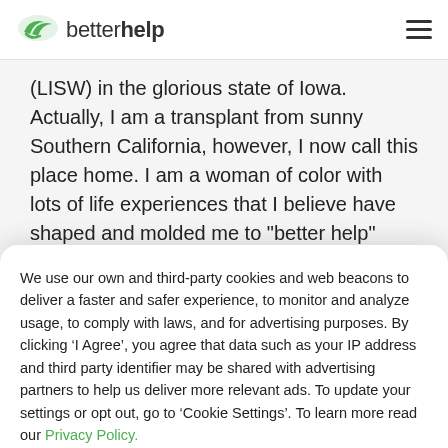betterhelp
(LISW) in the glorious state of Iowa. Actually, I am a transplant from sunny Southern California, however, I now call this place home. I am a woman of color with lots of life experiences that I believe have shaped and molded me to "better help" others who are struggling with life's expected and unexpected transitions, and those who are just trying
We use our own and third-party cookies and web beacons to deliver a faster and safer experience, to monitor and analyze usage, to comply with laws, and for advertising purposes. By clicking ‘I Agree’, you agree that data such as your IP address and third party identifier may be shared with advertising partners to help us deliver more relevant ads. To update your settings or opt out, go to ‘Cookie Settings’. To learn more read our Privacy Policy.
Cookie Settings
I Agree